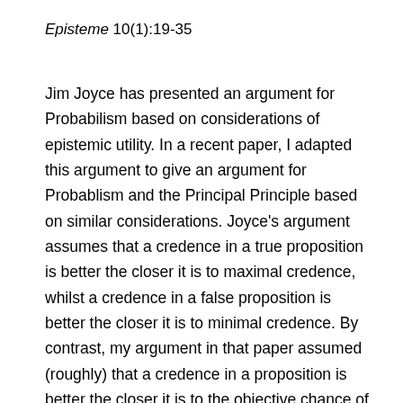Episteme 10(1):19-35
Jim Joyce has presented an argument for Probabilism based on considerations of epistemic utility. In a recent paper, I adapted this argument to give an argument for Probablism and the Principal Principle based on similar considerations. Joyce's argument assumes that a credence in a true proposition is better the closer it is to maximal credence, whilst a credence in a false proposition is better the closer it is to minimal credence. By contrast, my argument in that paper assumed (roughly) that a credence in a proposition is better the closer it is to the objective chance of that proposition. In this paper,